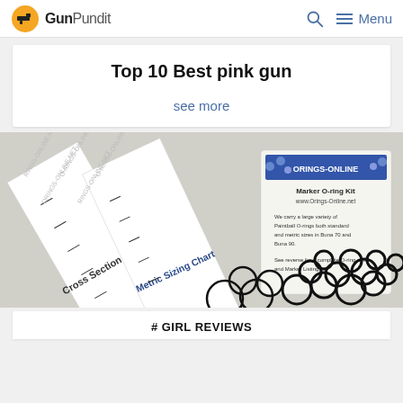GunPundit — Menu
Top 10 Best pink gun
see more
[Figure (photo): Product photo showing O-ring kits with Cross Section Chart and Metric Sizing Chart rulers and loose black O-rings, from Orings-Online]
# GIRL REVIEWS